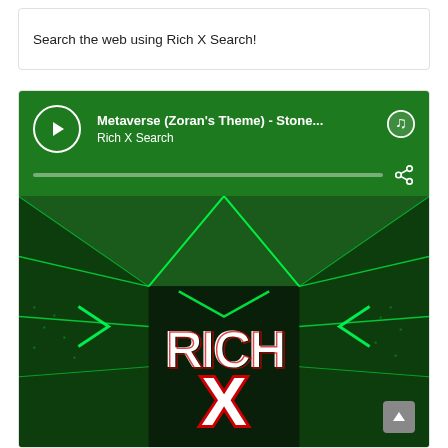Search the web using Rich X Search!
[Figure (screenshot): Spotify embed player card showing track 'Metaverse (Zoran's Theme) - Stone...' by Rich X Search with green header, play button, Spotify logo, progress bar, share icon, and album artwork featuring neon green geometric lines and 'RICH X' stylized logo text.]